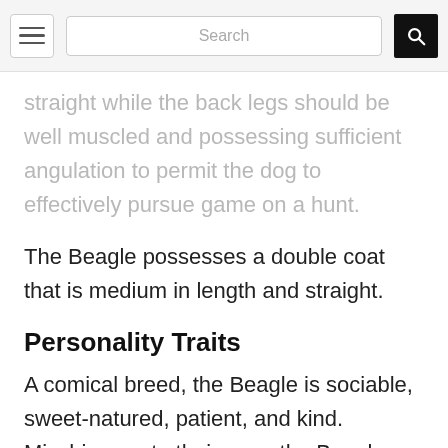Search
straight while the back legs should be well muscled and possessing sufficient angulation to permit the dog to effectively pursue game on a hunt.
The Beagle possesses a double coat that is medium in length and straight.
Personality Traits
A comical breed, the Beagle is sociable, sweet-natured, patient, and kind. Mischievous to their core, the Beagle can get up to some crazy